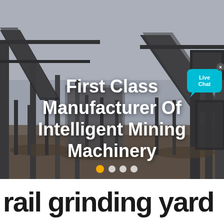[Figure (photo): Industrial mining facility with conveyor belts, steel structures, and heavy machinery under a grey hazy sky]
First Class Manufacturer Of Intelligent Mining Machinery
rail grinding yard